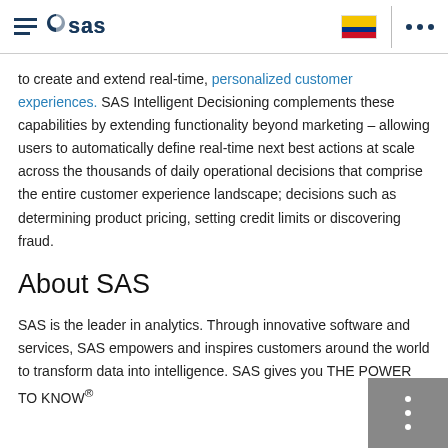SAS logo and navigation header
to create and extend real-time, personalized customer experiences. SAS Intelligent Decisioning complements these capabilities by extending functionality beyond marketing – allowing users to automatically define real-time next best actions at scale across the thousands of daily operational decisions that comprise the entire customer experience landscape; decisions such as determining product pricing, setting credit limits or discovering fraud.
About SAS
SAS is the leader in analytics. Through innovative software and services, SAS empowers and inspires customers around the world to transform data into intelligence. SAS gives you THE POWER TO KNOW®